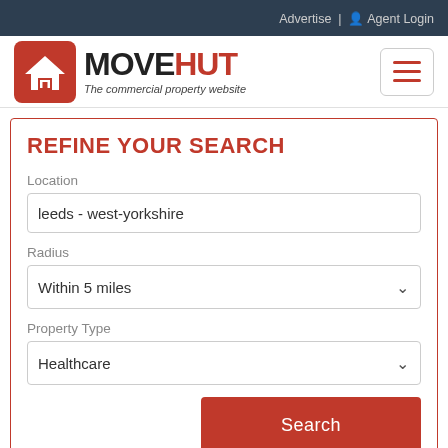Advertise | Agent Login
[Figure (logo): MoveHut logo - house icon and text reading MOVEHUT The commercial property website, plus hamburger menu button]
REFINE YOUR SEARCH
Location
leeds - west-yorkshire
Radius
Within 5 miles
Property Type
Healthcare
Search